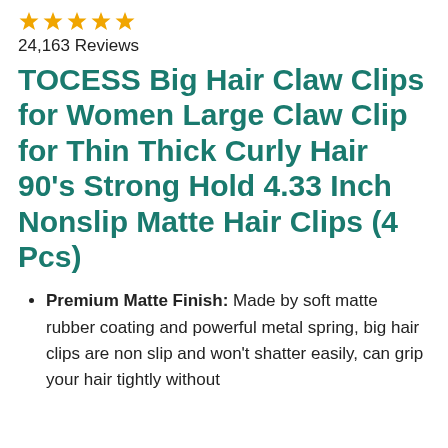[Figure (other): Five gold star rating icons]
24,163 Reviews
TOCESS Big Hair Claw Clips for Women Large Claw Clip for Thin Thick Curly Hair 90's Strong Hold 4.33 Inch Nonslip Matte Hair Clips (4 Pcs)
Premium Matte Finish: Made by soft matte rubber coating and powerful metal spring, big hair clips are non slip and won't shatter easily, can grip your hair tightly without